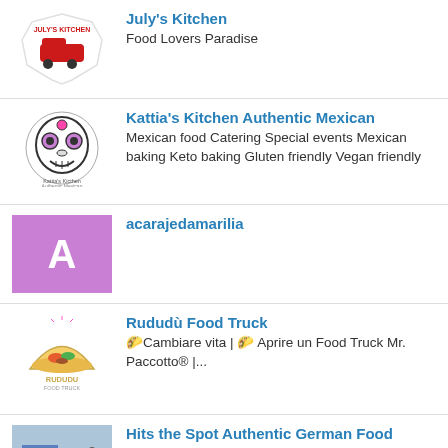July's Kitchen
Food Lovers Paradise
Kattia's Kitchen Authentic Mexican
Mexican food Catering Special events Mexican baking Keto baking Gluten friendly Vegan friendly
acarajedamarilia
Rududù Food Truck
🌮Cambiare vita | 🌮 Aprire un Food Truck Mr. Paccotto® |...
Hits the Spot Authentic German Food
Authentic German food. We offer Schnitzel Dinner, Jägerschnitzel (mushroom gravy),...
The_Bob_Bend
OUR DONER KEBAB STARTS WITH GRILLED FLATBREAD, FILLED WITH YOUR